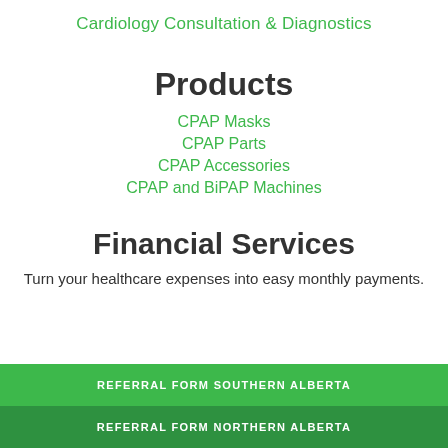Cardiology Consultation & Diagnostics
Products
CPAP Masks
CPAP Parts
CPAP Accessories
CPAP and BiPAP Machines
Financial Services
Turn your healthcare expenses into easy monthly payments.
REFERRAL FORM SOUTHERN ALBERTA
REFERRAL FORM NORTHERN ALBERTA